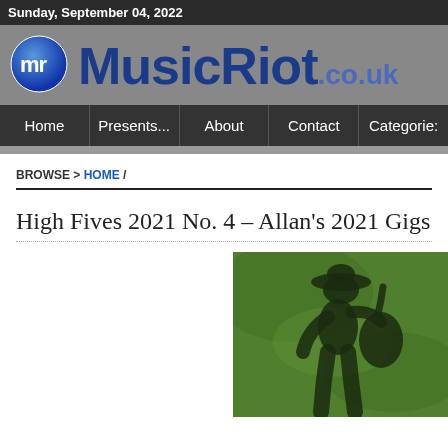Sunday, September 04, 2022
[Figure (logo): MusicRiot.co.uk logo with blue globe icon and bold blue text]
Home | Presents... | About | Contact | Categories:
BROWSE > HOME /
High Fives 2021 No. 4 – Allan's 2021 Gigs
[Figure (photo): Shadow of a person wearing a cowboy hat playing guitar, cast on green grass]